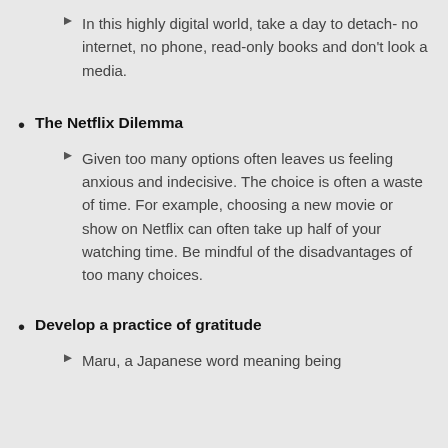In this highly digital world, take a day to detach- no internet, no phone, read-only books and don't look a media.
The Netflix Dilemma
Given too many options often leaves us feeling anxious and indecisive. The choice is often a waste of time. For example, choosing a new movie or show on Netflix can often take up half of your watching time. Be mindful of the disadvantages of too many choices.
Develop a practice of gratitude
Maru, a Japanese word meaning being